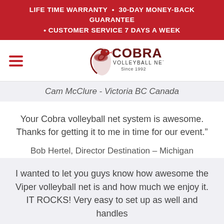LIFE TIME WARRANTY  •  30-DAY MONEY-BACK GUARANTEE  •  CUSTOMER SERVICE 7 DAYS A WEEK
[Figure (logo): Cobra Volleyball Nets logo with cobra snake graphic and text 'COBRA VOLLEYBALL NETS Since 1992']
Cam McClure - Victoria BC Canada
Your Cobra volleyball net system is awesome. Thanks for getting it to me in time for our event."
Bob Hertel, Director Destination - Michigan
I wanted to let you guys know how awesome the Viper volleyball net is and how much we enjoy it. IT ROCKS! Very easy to set up as well and handles